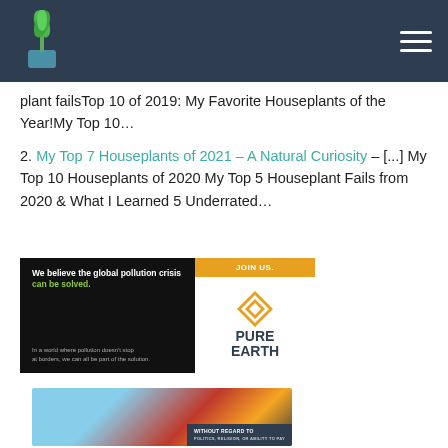A Natural Curiosity - plant blog header with logo and navigation
plant failsTop 10 of 2019: My Favorite Houseplants of the Year!My Top 10…
2. My Top 7 Houseplants of 2021 – A Natural Curiosity – [...] My Top 10 Houseplants of 2020 My Top 5 Houseplant Fails from 2020 & What I Learned 5 Underrated…
[Figure (other): Pure Earth advertisement banner: 'We believe the global pollution crisis can be solved. JOIN US. PURE EARTH']
[Figure (photo): Partial bottom advertisement showing airplane cargo loading scene with 'WITHOUT REGARD TO' text overlay]